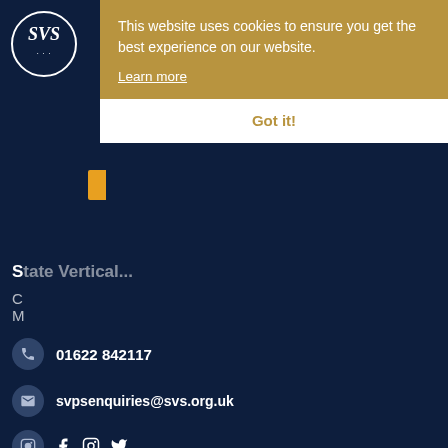[Figure (screenshot): Cookie consent banner overlay with gold background, text 'This website uses cookies to ensure you get the best experience on our website.', a 'Learn more' underlined link, and a white 'Got it!' button]
01622 842117
svpsenquiries@svs.org.uk
Little Lambs Nursery
Church Road, Chart Sutton, Maidstone, Kent, ME17 3RF
01622 842117
office@littlelambsnursery.org.uk